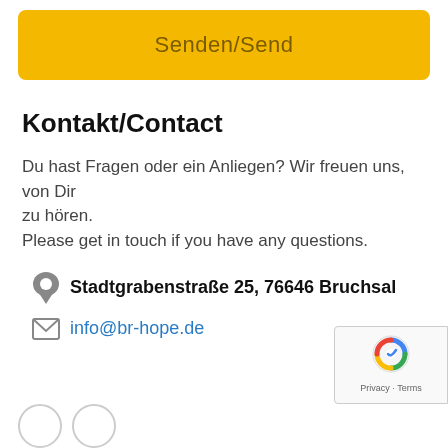Senden/Send
Kontakt/Contact
Du hast Fragen oder ein Anliegen? Wir freuen uns, von Dir zu hören.
Please get in touch if you have any questions.
Stadtgrabenstraße 25, 76646 Bruchsal
info@br-hope.de